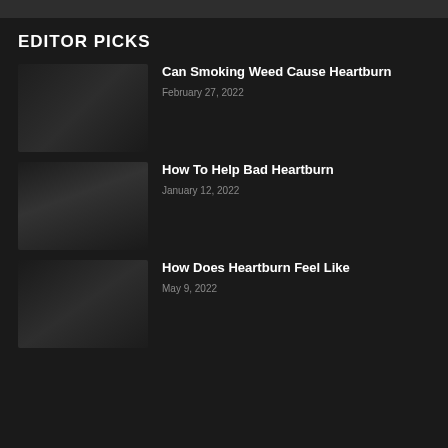EDITOR PICKS
Can Smoking Weed Cause Heartburn
February 27, 2022
How To Help Bad Heartburn
January 12, 2022
How Does Heartburn Feel Like
May 9, 2022